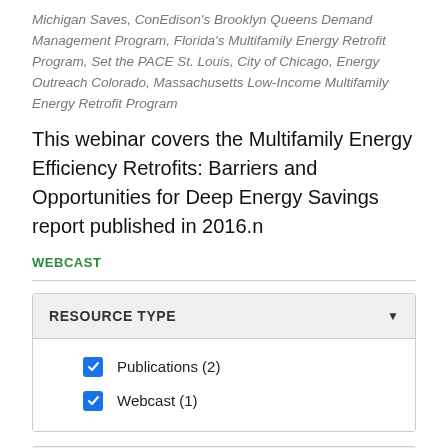Michigan Saves, ConEdison's Brooklyn Queens Demand Management Program, Florida's Multifamily Energy Retrofit Program, Set the PACE St. Louis, City of Chicago, Energy Outreach Colorado, Massachusetts Low-Income Multifamily Energy Retrofit Program
This webinar covers the Multifamily Energy Efficiency Retrofits: Barriers and Opportunities for Deep Energy Savings report published in 2016.n
WEBCAST
| RESOURCE TYPE |
| --- |
| ☑ Publications (2) |
| ☑ Webcast (1) |
PROGRAM COMPONENTS